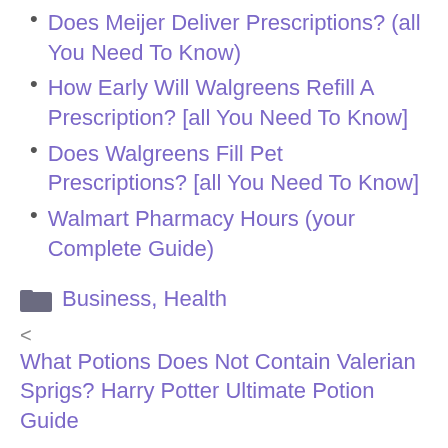Does Meijer Deliver Prescriptions? (all You Need To Know)
How Early Will Walgreens Refill A Prescription? [all You Need To Know]
Does Walgreens Fill Pet Prescriptions? [all You Need To Know]
Walmart Pharmacy Hours (your Complete Guide)
Business, Health
< What Potions Does Not Contain Valerian Sprigs? Harry Potter Ultimate Potion Guide
> What Colors Make Brown? Brown Paint Schemes